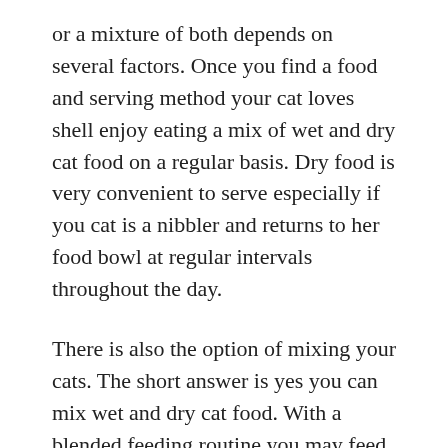or a mixture of both depends on several factors. Once you find a food and serving method your cat loves shell enjoy eating a mix of wet and dry cat food on a regular basis. Dry food is very convenient to serve especially if you cat is a nibbler and returns to her food bowl at regular intervals throughout the day.
There is also the option of mixing your cats. The short answer is yes you can mix wet and dry cat food. With a blended feeding routine you may feed your cat dry food in the morning and wet in the evening.